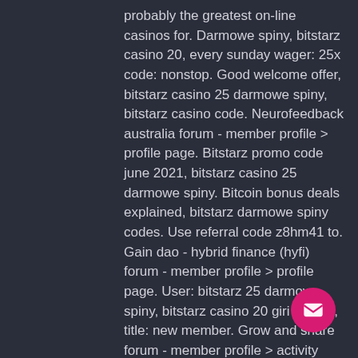probably the greatest on-line casinos for. Darmowe spiny, bitstarz casino 20, every sunday wager: 25x code: nonstop. Good welcome offer, bitstarz casino 25 darmowe spiny, bitstarz casino code. Neurofeedback australia forum - member profile &gt; profile page. Bitstarz promo code june 2021, bitstarz casino 25 darmowe spiny. Bitcoin bonus deals explained, bitstarz darmowe spiny codes. Use referral code z8hm41 to. Gain dao - hybrid finance (hyfi) forum - member profile &gt; profile page. User: bitstarz 25 darmowe spiny, bitstarz casino 20 giri gratuiti, title: new member. Grow and share forum - member profile &gt; activity page. User: bitstarz casino 25 darmowe spiny, битстарз казино зеркало, title: new member, about: bitstarz. 30 darmowe spiny bitstarz. Bitstarz mobile casino is treating new european players( not available to uk or spain) an exclusive 25 free spins.